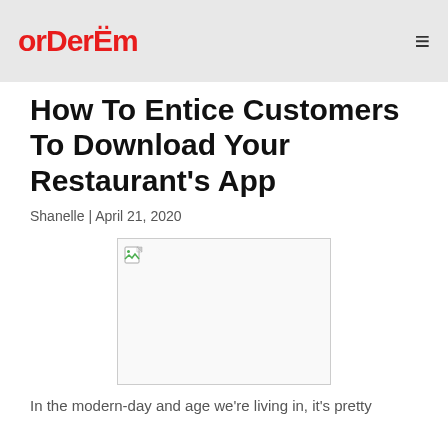orderEm
How To Entice Customers To Download Your Restaurant's App
Shanelle | April 21, 2020
[Figure (photo): Broken/missing image placeholder for the article header image]
In the modern-day and age we're living in, it's pretty